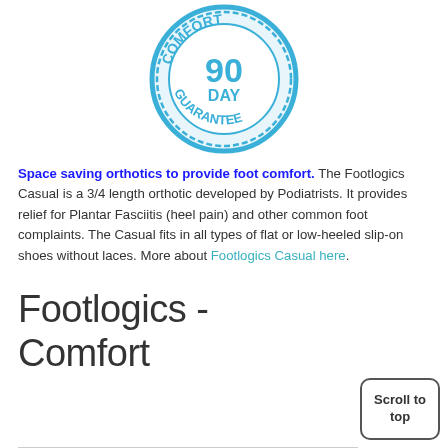[Figure (logo): Comfort 90 Day Guarantee circular badge/seal in blue and white]
Space saving orthotics to provide foot comfort. The Footlogics Casual is a 3/4 length orthotic developed by Podiatrists. It provides relief for Plantar Fasciitis (heel pain) and other common foot complaints. The Casual fits in all types of flat or low-heeled slip-on shoes without laces. More about Footlogics Casual here.
Footlogics - Comfort